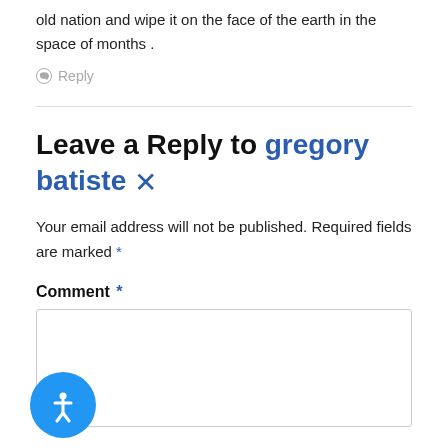old nation and wipe it on the face of the earth in the space of months .
Reply
Leave a Reply to gregory batiste ×
Your email address will not be published. Required fields are marked *
Comment *